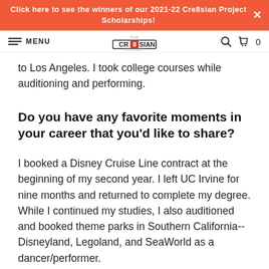Click here to see the winners of our 2021-22 Cre8sian Project Scholarships!
MENU | THE CRE8SIAN PROJECT | 0
to Los Angeles. I took college courses while auditioning and performing.
Do you have any favorite moments in your career that you'd like to share?
I booked a Disney Cruise Line contract at the beginning of my second year. I left UC Irvine for nine months and returned to complete my degree. While I continued my studies, I also auditioned and booked theme parks in Southern California--Disneyland, Legoland, and SeaWorld as a dancer/performer.